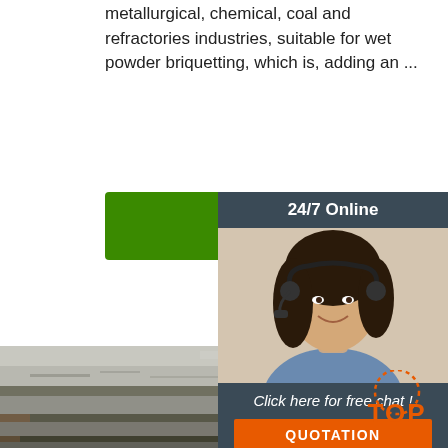metallurgical, chemical, coal and refractories industries, suitable for wet powder briquetting, which is, adding an ...
[Figure (other): Green 'Get Price' button]
[Figure (other): 24/7 Online customer service widget with woman wearing headset, 'Click here for free chat!' text and QUOTATION button]
[Figure (photo): Stacked steel plates/sheets photographed from above, showing layered industrial metal material]
[Figure (logo): Orange TOP badge/logo in bottom right corner]